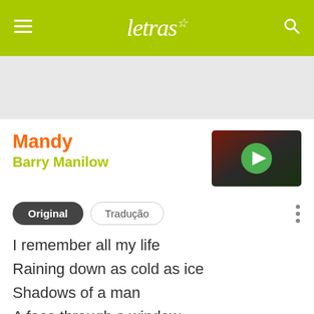letras
Mandy
Barry Manilow
[Figure (other): Video thumbnail with play button for Barry Manilow Mandy]
Original  Tradução
I remember all my life
Raining down as cold as ice
Shadows of a man
A face through a window